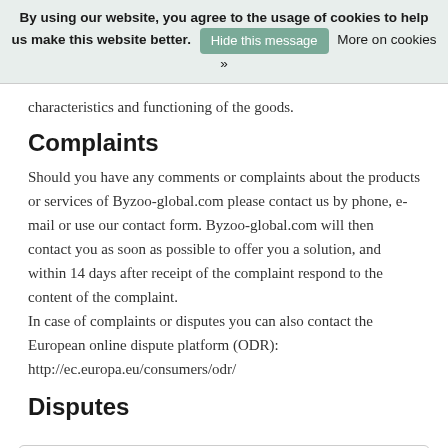By using our website, you agree to the usage of cookies to help us make this website better. Hide this message  More on cookies »
characteristics and functioning of the goods.
Complaints
Should you have any comments or complaints about the products or services of Byzoo-global.com please contact us by phone, e-mail or use our contact form. Byzoo-global.com will then contact you as soon as possible to offer you a solution, and within 14 days after receipt of the complaint respond to the content of the complaint.
In case of complaints or disputes you can also contact the European online dispute platform (ODR):
http://ec.europa.eu/consumers/odr/
Disputes
Search by keyword or product